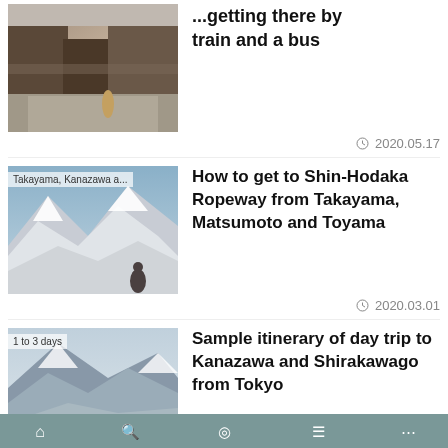[Figure (photo): Traditional Japanese street with wooden buildings]
...getting there by train and a bus
2020.05.17
[Figure (photo): Snow-covered mountains, Shin-Hodaka Ropeway area. Tag: Takayama, Kanazawa a...]
How to get to Shin-Hodaka Ropeway from Takayama, Matsumoto and Toyama
2020.03.01
[Figure (photo): Snow-covered mountain village, Shirakawago. Tag: 1 to 3 days]
Sample itinerary of day trip to Kanazawa and Shirakawago from Tokyo
2015.09.02
[Figure (photo): Cherry blossom or snowy tree scene. Tag: 1 to 3 days]
Sample itinerary of day trip to Kanazawa and Shirakawago
navigation footer bar